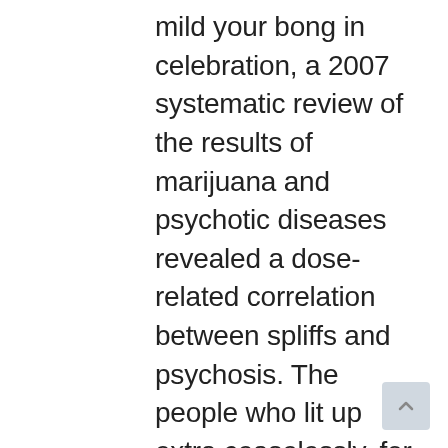mild your bong in celebration, a 2007 systematic review of the results of marijuana and psychotic diseases revealed a dose-related correlation between spliffs and psychosis. The people who lit up extra ceaselessly, for a longer number of years and with more potent pot suffered from more psychological well being points than non customers. It is very important keep perspective on the fact that extreme abuse of marijuana correlates with mental health issues. Most substances consumed in excess, from candy to cocaine, may